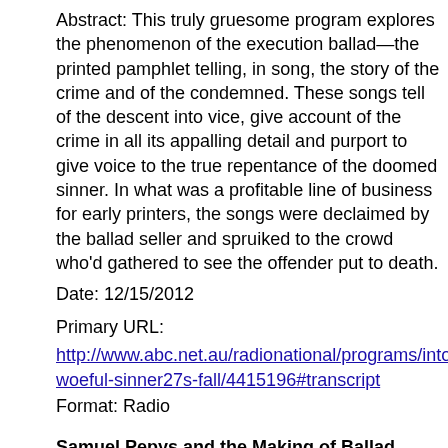Abstract: This truly gruesome program explores the phenomenon of the execution ballad—the printed pamphlet telling, in song, the story of the crime and of the condemned. These songs tell of the descent into vice, give account of the crime in all its appalling detail and purport to give voice to the true repentance of the doomed sinner. In what was a profitable line of business for early printers, the songs were declaimed by the ballad seller and spruiked to the crowd who'd gathered to see the offender put to death.
Date: 12/15/2012
Primary URL:
http://www.abc.net.au/radionational/programs/intothemusic/a-woeful-sinner27s-fall/4415196#transcript
Format: Radio
Samuel Pepys and the Making of Ballad Publics: Song, Performance, Identity (Conference Paper/Presentation)